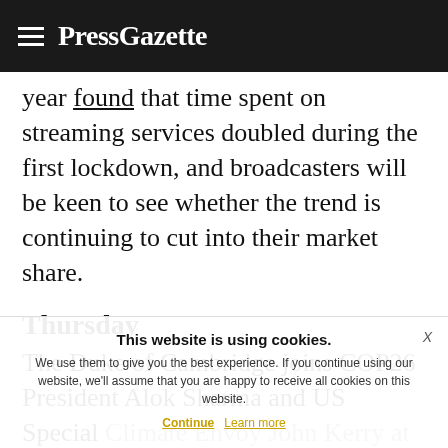PressGazette
year found that time spent on streaming services doubled during the first lockdown, and broadcasters will be keen to see whether the trend is continuing to cut into their market share.
Thursday
The Duke of Cambridge joins COP26 President Alok Sharma and US Special Climate Envoy John Kerry at a virtual event on green transitions on the sidelines of the World Bank Spring Meetings. Th... is lea... nd brother
This website is using cookies. We use them to give you the best experience. If you continue using our website, we'll assume that you are happy to receive all cookies on this website. Continue | Learn more